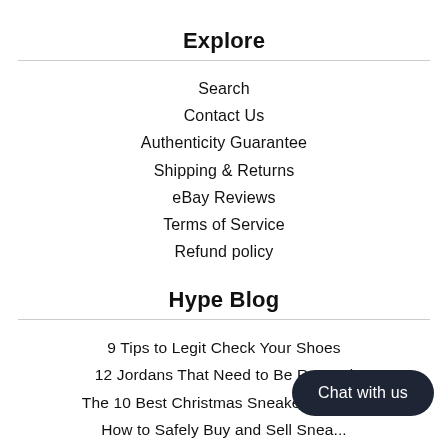Explore
Search
Contact Us
Authenticity Guarantee
Shipping & Returns
eBay Reviews
Terms of Service
Refund policy
Hype Blog
9 Tips to Legit Check Your Shoes
12 Jordans That Need to Be Retroed
The 10 Best Christmas Sneakers of All...
How to Safely Buy and Sell Snea...
Hype Stew's Guide to Buying Us...
Hype Stew's Guide to Cleaning Shoes
Chat with us